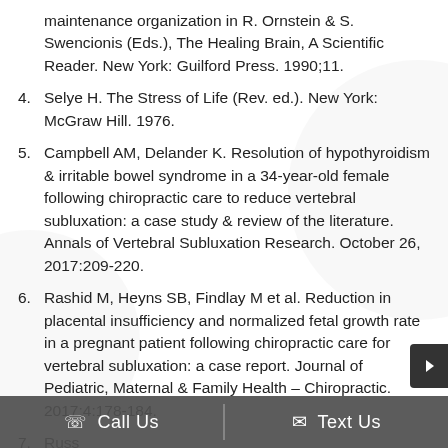maintenance organization in R. Ornstein & S. Swencionis (Eds.), The Healing Brain, A Scientific Reader. New York: Guilford Press. 1990;11.
4. Selye H. The Stress of Life (Rev. ed.). New York: McGraw Hill. 1976.
5. Campbell AM, Delander K. Resolution of hypothyroidism & irritable bowel syndrome in a 34-year-old female following chiropractic care to reduce vertebral subluxation: a case study & review of the literature. Annals of Vertebral Subluxation Research. October 26, 2017:209-220.
6. Rashid M, Heyns SB, Findlay M et al. Reduction in placental insufficiency and normalized fetal growth rate in a pregnant patient following chiropractic care for vertebral subluxation: a case report. Journal of Pediatric, Maternal & Family Health – Chiropractic. 2017;4:178-184.
7. Russ... of ... a 9-